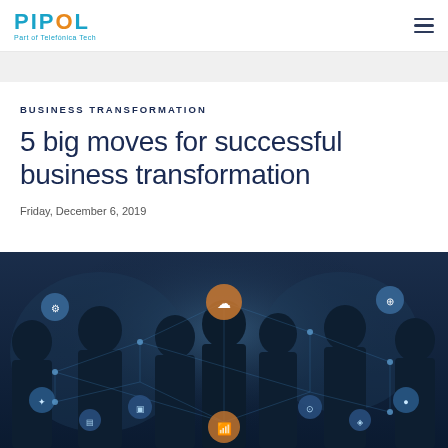PIPOL — Part of Telefónica Tech
BUSINESS TRANSFORMATION
5 big moves for successful business transformation
Friday, December 6, 2019
[Figure (photo): Silhouettes of business people in front of a dark blue digital network overlay with glowing connected icons representing cloud, wifi, and IoT technology nodes]